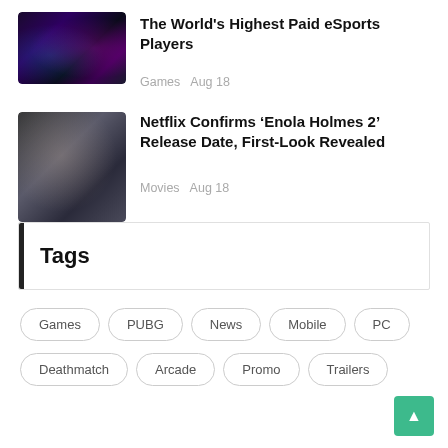[Figure (photo): Dark gaming/esports scene with neon purple and cyan lighting, silhouettes of players]
The World's Highest Paid eSports Players
Games  Aug 18
[Figure (photo): Movie scene with a woman in the foreground and people in dark clothing behind her]
Netflix Confirms 'Enola Holmes 2' Release Date, First-Look Revealed
Movies  Aug 18
Tags
Games
PUBG
News
Mobile
PC
Deathmatch
Arcade
Promo
Trailers